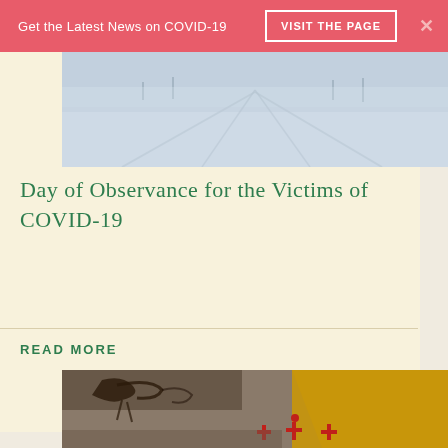Get the Latest News on COVID-19   VISIT THE PAGE   ×
[Figure (photo): Snow-covered road or landscape with tire tracks, wintry blue-toned image]
Day of Observance for the Victims of COVID-19
READ MORE
[Figure (photo): Indigenous artwork or cave painting showing figures with crosses and geometric patterns on an aged background with yellow diagonal stripe]